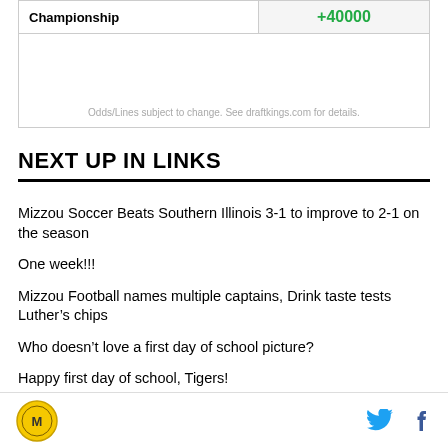|  |  |
| --- | --- |
| Championship | +40000 |
Odds/Lines subject to change. See draftkings.com for details.
NEXT UP IN LINKS
Mizzou Soccer Beats Southern Illinois 3-1 to improve to 2-1 on the season
One week!!!
Mizzou Football names multiple captains, Drink taste tests Luther’s chips
Who doesn’t love a first day of school picture?
Happy first day of school, Tigers!